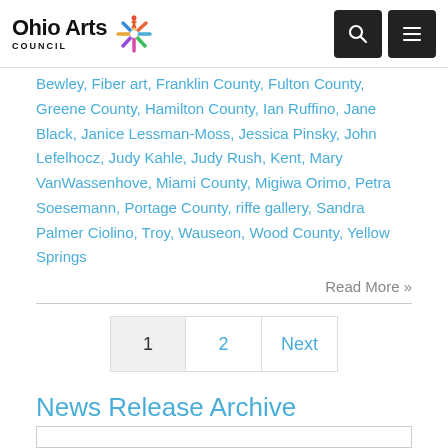[Figure (logo): Ohio Arts Council logo with colorful star/compass icon and bold text]
Bewley, Fiber art, Franklin County, Fulton County, Greene County, Hamilton County, Ian Ruffino, Jane Black, Janice Lessman-Moss, Jessica Pinsky, John Lefelhocz, Judy Kahle, Judy Rush, Kent, Mary VanWassenhove, Miami County, Migiwa Orimo, Petra Soesemann, Portage County, riffe gallery, Sandra Palmer Ciolino, Troy, Wauseon, Wood County, Yellow Springs
Read More »
1  2  Next
News Release Archive